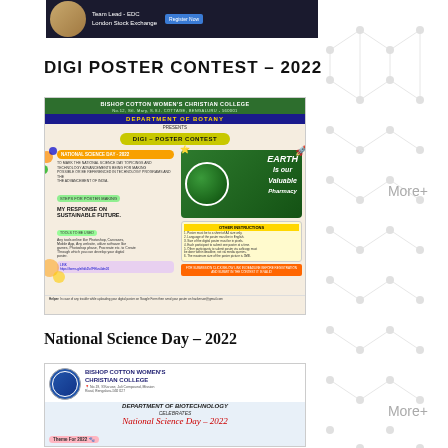[Figure (photo): Top banner image showing a person with text 'Team Lead - EDC London Stock Exchange' on dark background]
DIGI POSTER CONTEST – 2022
[Figure (photo): Poster for DIGI POSTER CONTEST by Department of Botany, Bishop Cotton Women's Christian College, featuring National Science Day 2022 theme, Earth imagery, contest instructions and registration link]
More+
National Science Day – 2022
[Figure (photo): Poster for National Science Day 2022 celebration by Department of Biotechnology, Bishop Cotton Women's Christian College, theme: Integrated Approach in Science And Technology For Sustainable Future]
More+